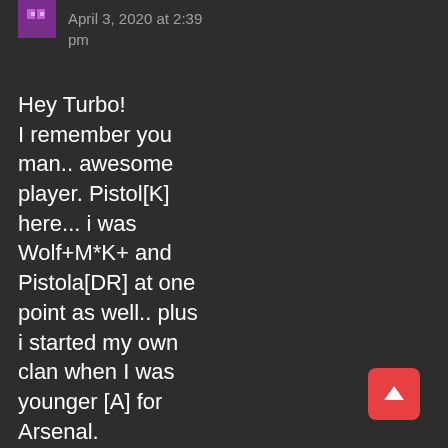[Figure (illustration): Purple avatar icon with a small graphic]
April 3, 2020 at 2:39 pm
Hey Turbo! I remember you man.. awesome player. Pistol[K] here... i was Wolf+M*K+ and Pistola[DR] at one point as well.. plus i started my own clan when I was younger [A] for Arsenal. Whatever happened to Saturn and the
[Figure (illustration): Red scroll-to-top button with upward arrow]